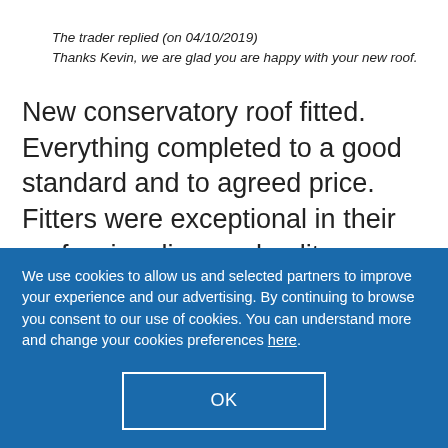The trader replied (on 04/10/2019)
Thanks Kevin, we are glad you are happy with your new roof.
New conservatory roof fitted. Everything completed to a good standard and to agreed price. Fitters were exceptional in their professionalism and politeness. Excellent work
We use cookies to allow us and selected partners to improve your experience and our advertising. By continuing to browse you consent to our use of cookies. You can understand more and change your cookies preferences here.
OK